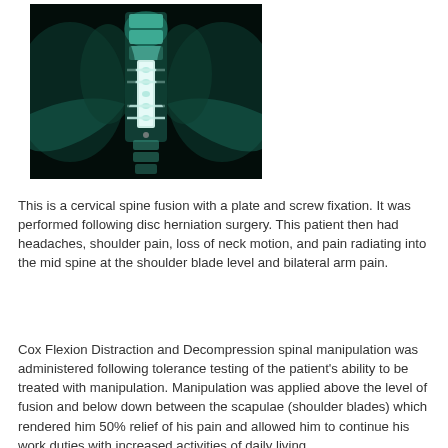[Figure (photo): X-ray image of cervical spine showing plate and screw fixation hardware used in spinal fusion surgery, anterior-posterior view, with white metallic implant visible against dark background]
This is a cervical spine fusion with a plate and screw fixation. It was performed following disc herniation surgery. This patient then had headaches, shoulder pain, loss of neck motion, and pain radiating into the mid spine at the shoulder blade level and bilateral arm pain.
Cox Flexion Distraction and Decompression spinal manipulation was administered following tolerance testing of the patient's ability to be treated with manipulation. Manipulation was applied above the level of fusion and below down between the scapulae (shoulder blades) which rendered him 50% relief of his pain and allowed him to continue his work duties with increased activities of daily living.